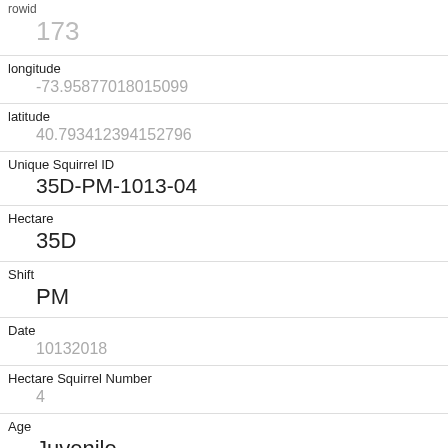| rowid | 173 |
| longitude | -73.95877018015099 |
| latitude | 40.793412394152796 |
| Unique Squirrel ID | 35D-PM-1013-04 |
| Hectare | 35D |
| Shift | PM |
| Date | 10132018 |
| Hectare Squirrel Number | 4 |
| Age | Juvenile |
| Primary Fur Color | Gray |
| Highlight Fur Color |  |